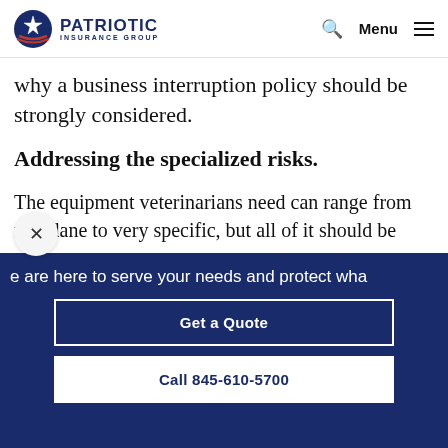PATRIOTIC INSURANCE GROUP
why a business interruption policy should be strongly considered.
Addressing the specialized risks.
The equipment veterinarians need can range from mundane to very specific, but all of it should be
e are here to serve your needs and protect wha
Get a Quote
Call 845-610-5700